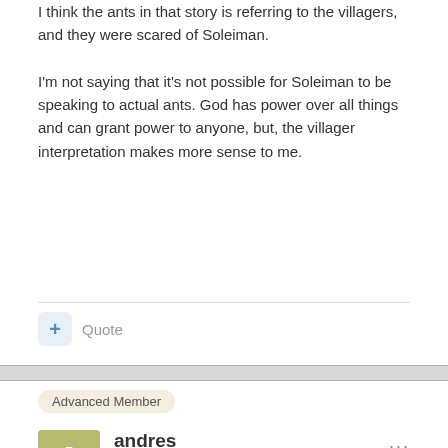I think the ants in that story is referring to the villagers, and they were scared of Soleiman.
I'm not saying that it's not possible for Soleiman to be speaking to actual ants. God has power over all things and can grant power to anyone, but, the villager interpretation makes more sense to me.
Quote
Advanced Member
andres
Posted July 16, 2018
On 7/15/2018 at 10:02 PM, Ashvazdanghe said:
Zoroastrianism is an older monotheistic religion than Judaism that has high influence on Judaism &Christianity & partly Islam these thre.